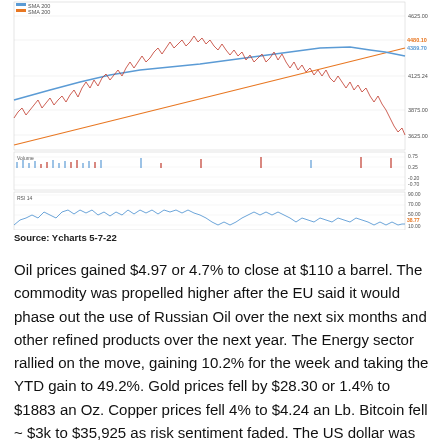[Figure (continuous-plot): Stock market chart showing price history (candlestick/line) with SMA 200 overlay (blue line) and orange trend line, from Jun '21 to May '22. Price range approximately 3825 to 4825. Below the main chart is a Volume panel (0.75 to -0.70) and an RSI 14 panel (10.00 to 90.00) showing blue line oscillating, current value 38.77. Legend shows SMA 200.]
Source: Ycharts 5-7-22
Oil prices gained $4.97 or 4.7% to close at $110 a barrel. The commodity was propelled higher after the EU said it would phase out the use of Russian Oil over the next six months and other refined products over the next year. The Energy sector rallied on the move, gaining 10.2% for the week and taking the YTD gain to 49.2%.  Gold prices fell by $28.30 or 1.4% to $1883 an Oz.  Copper prices fell 4% to $4.24 an Lb.  Bitcoin fell ~ $3k to $35,925 as risk sentiment faded.  The US dollar was stronger, gaining